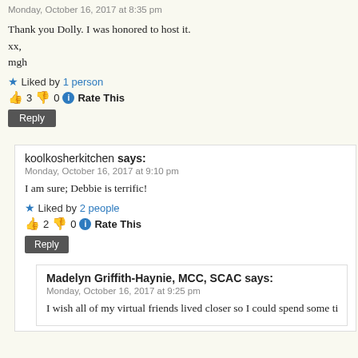Monday, October 16, 2017 at 8:35 pm
Thank you Dolly. I was honored to host it.
xx,
mgh
Liked by 1 person
👍 3 👎 0 ℹ Rate This
Reply
koolkosherkitchen says:
Monday, October 16, 2017 at 9:10 pm
I am sure; Debbie is terrific!
Liked by 2 people
👍 2 👎 0 ℹ Rate This
Reply
Madelyn Griffith-Haynie, MCC, SCAC says:
Monday, October 16, 2017 at 9:25 pm
I wish all of my virtual friends lived closer so I could spend some ti...